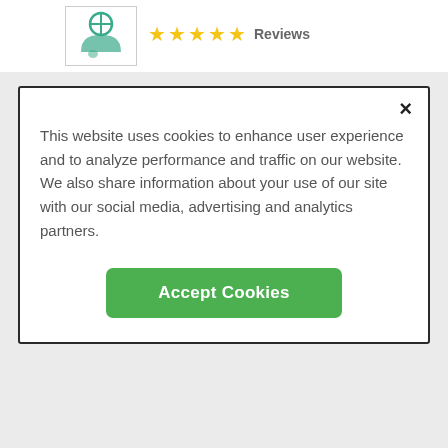[Figure (screenshot): Background page showing medical listing with star ratings and doctor icon]
[Figure (screenshot): Cookie consent modal dialog with close button and Accept Cookies button]
This website uses cookies to enhance user experience and to analyze performance and traffic on our website. We also share information about your use of our site with our social media, advertising and analytics partners.
Accept Cookies
1878 Mountain Rd Ste 3
Stowe, VT 05672
1.5 miles away
ADVERTISEMENT
[Figure (screenshot): Healthgrades advertisement banner: 5-star doctors really do exist. Find Yours Today]